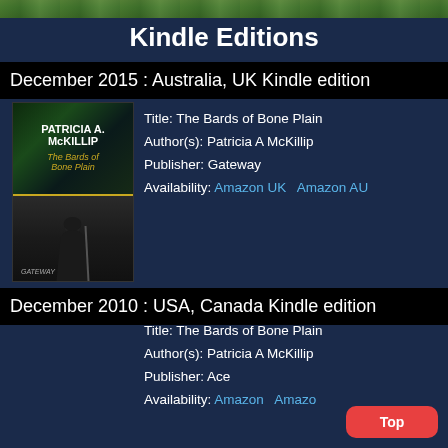Kindle Editions
December 2015 : Australia, UK Kindle edition
[Figure (photo): Book cover of The Bards of Bone Plain by Patricia A. McKillip, published by Gateway. Shows author name and title on dark green background top half, and a robed figure with a staff in a forest on the bottom half.]
Title: The Bards of Bone Plain
Author(s): Patricia A McKillip
Publisher: Gateway
Availability: Amazon UK   Amazon AU
December 2010 : USA, Canada Kindle edition
Title: The Bards of Bone Plain
Author(s): Patricia A McKillip
Publisher: Ace
Availability: Amazon   Amazon
Top